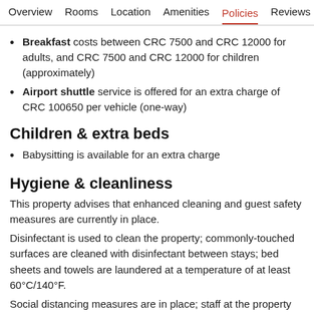Overview  Rooms  Location  Amenities  Policies  Reviews
Breakfast costs between CRC 7500 and CRC 12000 for adults, and CRC 7500 and CRC 12000 for children (approximately)
Airport shuttle service is offered for an extra charge of CRC 100650 per vehicle (one-way)
Children & extra beds
Babysitting is available for an extra charge
Hygiene & cleanliness
This property advises that enhanced cleaning and guest safety measures are currently in place.
Disinfectant is used to clean the property; commonly-touched surfaces are cleaned with disinfectant between stays; bed sheets and towels are laundered at a temperature of at least 60°C/140°F.
Social distancing measures are in place; staff at the property wear personal protective equipment; periodic temperature checks are conducted on staff; temperature checks are available to guests;